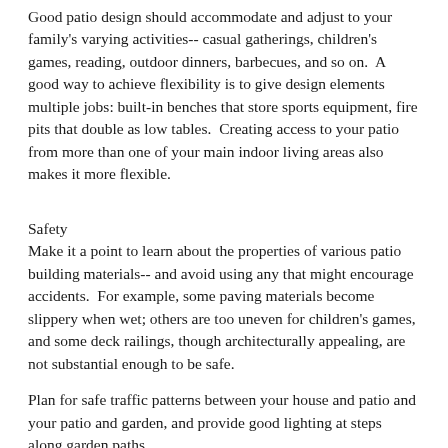Good patio design should accommodate and adjust to your family's varying activities-- casual gatherings, children's games, reading, outdoor dinners, barbecues, and so on.  A good way to achieve flexibility is to give design elements multiple jobs: built-in benches that store sports equipment, fire pits that double as low tables.  Creating access to your patio from more than one of your main indoor living areas also makes it more flexible.
Safety
Make it a point to learn about the properties of various patio building materials-- and avoid using any that might encourage accidents.  For example, some paving materials become slippery when wet; others are too uneven for children's games, and some deck railings, though architecturally appealing, are not substantial enough to be safe.
Plan for safe traffic patterns between your house and patio and your patio and garden, and provide good lighting at steps along garden paths.